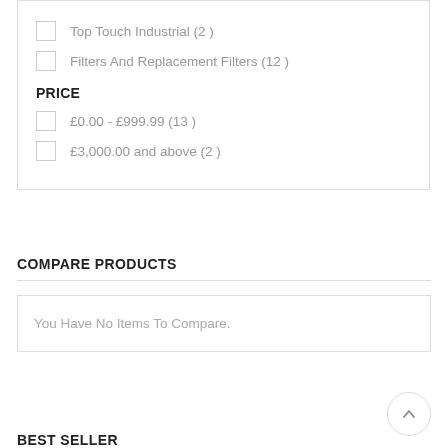Top Touch Industrial (2 )
Filters And Replacement Filters (12 )
PRICE
£0.00 - £999.99 (13 )
£3,000.00 and above (2 )
COMPARE PRODUCTS
You Have No Items To Compare.
BEST SELLER